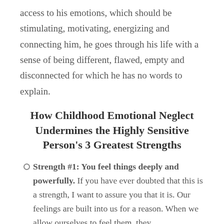access to his emotions, which should be stimulating, motivating, energizing and connecting him, he goes through his life with a sense of being different, flawed, empty and disconnected for which he has no words to explain.
How Childhood Emotional Neglect Undermines the Highly Sensitive Person's 3 Greatest Strengths
Strength #1: You feel things deeply and powerfully. If you have ever doubted that this is a strength, I want to assure you that it is. Our feelings are built into us for a reason. When we allow ourselves to feel them, they